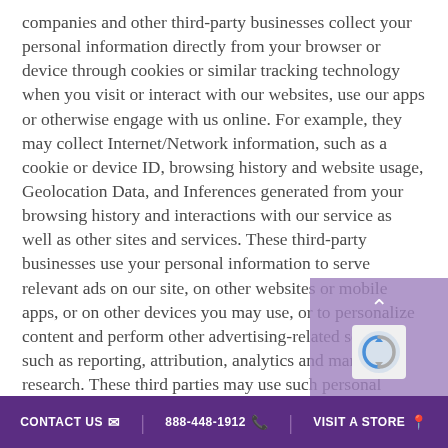companies and other third-party businesses collect your personal information directly from your browser or device through cookies or similar tracking technology when you visit or interact with our websites, use our apps or otherwise engage with us online. For example, they may collect Internet/Network information, such as a cookie or device ID, browsing history and website usage, Geolocation Data, and Inferences generated from your browsing history and interactions with our service as well as other sites and services. These third-party businesses use your personal information to serve relevant ads on our site, on other websites or mobile apps, or on other devices you may use, or to personalize content and perform other advertising-related services such as reporting, attribution, analytics and market research. These third parties may use such personal information for their own purposes in accordance with their own privacy statements
CONTACT US  888-448-1912  VISIT A STORE